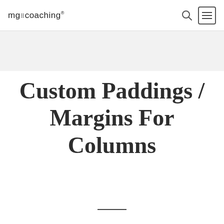mg coaching
Custom Paddings / Margins For Columns